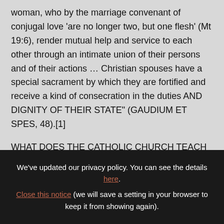woman, who by the marriage convenant of conjugal love 'are no longer two, but one flesh' (Mt 19:6), render mutual help and service to each other through an intimate union of their persons and of their actions … Christian spouses have a special sacrament by which they are fortified and receive a kind of consecration in the duties AND DIGNITY OF THEIR STATE" (GAUDIUM ET SPES, 48).[1]
WHAT DOES THE CATHOLIC CHURCH TEACH
We've updated our privacy policy. You can see the details here.
Close this notice (we will save a setting in your browser to keep it from showing again).